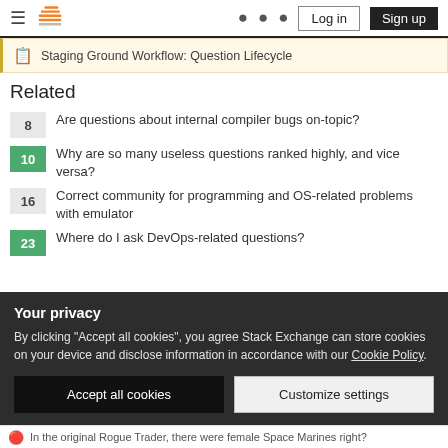Stack Exchange — hamburger menu, logo, help, chat, search, Log in, Sign up
Staging Ground Workflow: Question Lifecycle
Related
8 — Are questions about internal compiler bugs on-topic?
10 — Why are so many useless questions ranked highly, and vice versa?
16 — Correct community for programming and OS-related problems with emulator
23 — Where do I ask DevOps-related questions?
Your privacy
By clicking "Accept all cookies", you agree Stack Exchange can store cookies on your device and disclose information in accordance with our Cookie Policy.
Accept all cookies   Customize settings
In the original Rogue Trader, there were female Space Marines right?